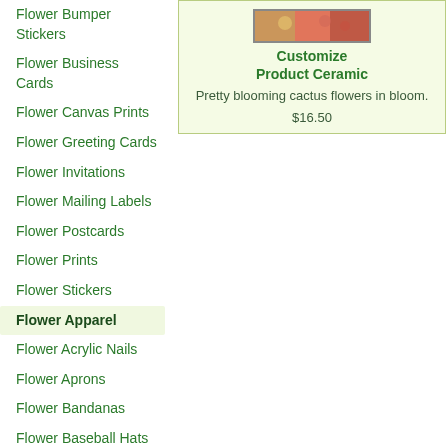Flower Bumper Stickers
Flower Business Cards
Flower Canvas Prints
Flower Greeting Cards
Flower Invitations
Flower Mailing Labels
Flower Postcards
Flower Prints
Flower Stickers
Flower Apparel
Flower Acrylic Nails
Flower Aprons
Flower Bandanas
Flower Baseball Hats
Flower Belt Buckles
Flower Charm Bracelets
Flower Dog Collars
Flower Dog Leashes
Flower Flip Flops
[Figure (photo): Product image of a customize product ceramic with cactus flowers]
Customize Product Ceramic
Pretty blooming cactus flowers in bloom.
$16.50